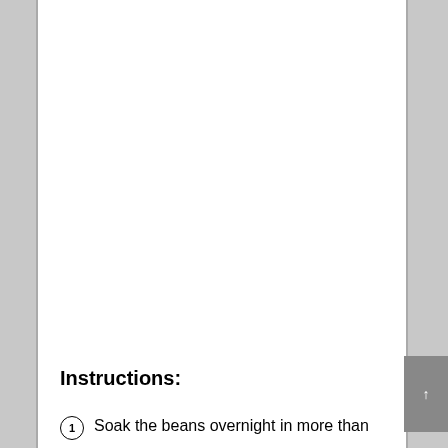Instructions:
Soak the beans overnight in more than